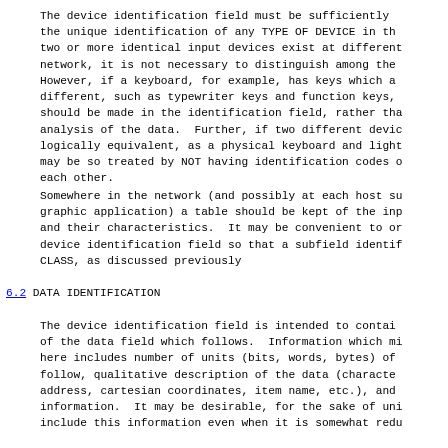The device identification field must be sufficiently the unique identification of any TYPE OF DEVICE in th two or more identical input devices exist at different network, it is not necessary to distinguish among the However, if a keyboard, for example, has keys which a different, such as typewriter keys and function keys, should be made in the identification field, rather tha analysis of the data.  Further, if two different devi logically equivalent, as a physical keyboard and ligh may be so treated by NOT having identification codes  each other.
Somewhere in the network (and possibly at each host s graphic application) a table should be kept of the in and their characteristics.  It may be convenient to o device identification field so that a subfield identi CLASS, as discussed previously
6.2  DATA IDENTIFICATION
The device identification field is intended to conta of the data field which follows.  Information which m here includes number of units (bits, words, bytes) of follow, qualitative description of the data (character address, cartesian coordinates, item name, etc.), and information.  It may be desirable, for the sake of un include this information even when it is somewhat redu